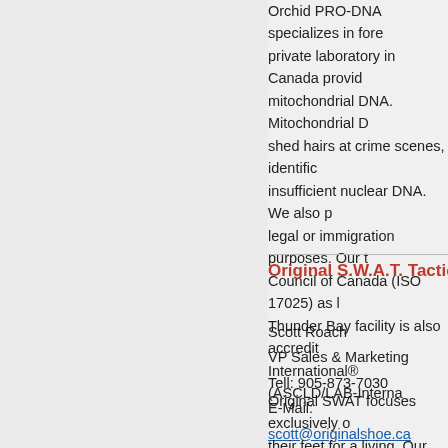Orchid PRO-DNA specializes in fore... private laboratory in Canada provid... mitochondrial DNA. Mitochondrial D... shed hairs at crime scenes, identific... insufficient nuclear DNA. We also p... legal or immigration purposes. Our t... Council of Canada (ISO 17025) as l... Thunder Bay facility is also accredit... International® (ASCLD/LAB-Interna...
Original S.W.A.T. Tactical Fo...
Scott Roach
VP Sales & Marketing
Tell: 905-873-7030
E-Mail: scott@originalshoe.ca
Web: www.originalshoe.ca
Original SWAT focuses exclusively o... their feet for a living. Our boots are... running shoe comfort right out of the...